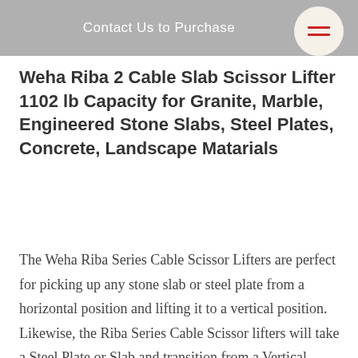Contact Us to Purchase
Weha Riba 2 Cable Slab Scissor Lifter 1102 lb Capacity for Granite, Marble, Engineered Stone Slabs, Steel Plates, Concrete, Landscape Matarials
The Weha Riba Series Cable Scissor Lifters are perfect for picking up any stone slab or steel plate from a horizontal position and lifting it to a vertical position. Likewise, the Riba Series Cable Scissor lifters will take a Steel Plate or Slab and transition from a Vertical position and lower it to a horizontal